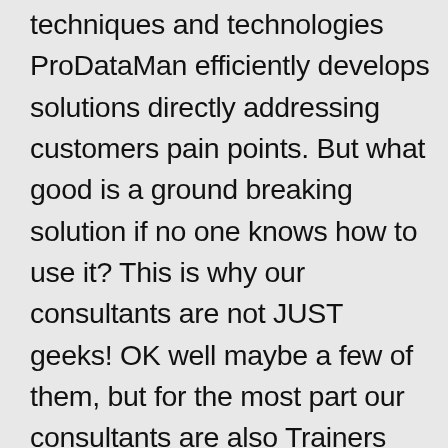techniques and technologies ProDataMan efficiently develops solutions directly addressing customers pain points. But what good is a ground breaking solution if no one knows how to use it? This is why our consultants are not JUST geeks! OK well maybe a few of them, but for the most part our consultants are also Trainers and/or Artists with actual people skills!! How's that for a change of pace. So when the project is complete one of our highly experienced and certified consultant / trainers can present to your entire team Tips, Tricks and Best Practices for making the most of the new solution.